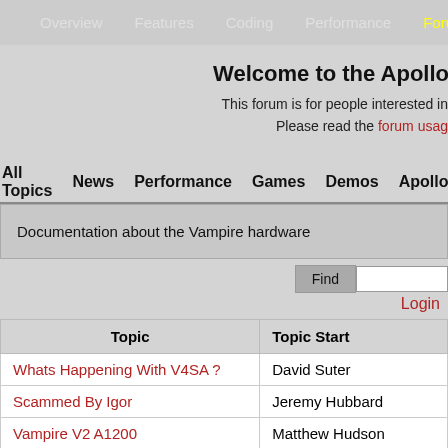Overview  Features  Coding  Performance  Forum
Welcome to the Apollo
This forum is for people interested in
Please read the forum usage
All Topics   News   Performance   Games   Demos   Apollo
Documentation about the Vampire hardware
Find  [input]
Login
| Topic | Topic Start |
| --- | --- |
| Whats Happening With V4SA ? | David Suter |
| Scammed By Igor | Jeremy Hubbard |
| Vampire V2 A1200 | Matthew Hudson |
| V2 Discord Support | Havard Spring |